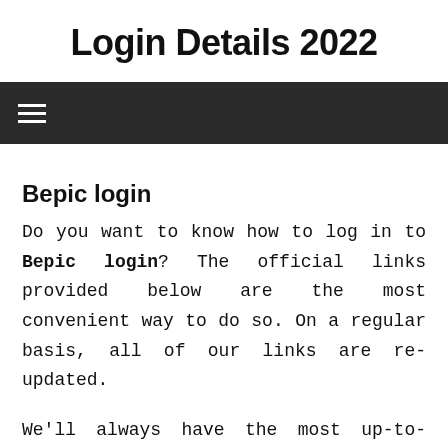Login Details 2022
☰ (navigation menu icon)
Bepic login
Do you want to know how to log in to Bepic login? The official links provided below are the most convenient way to do so. On a regular basis, all of our links are re-updated.
We'll always have the most up-to-date, official Bepic login links if you ever need to log in